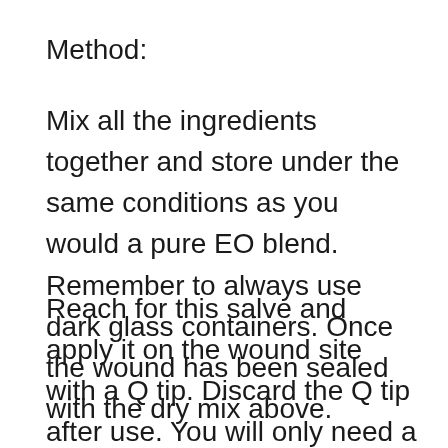Method:
Mix all the ingredients together and store under the same conditions as you would a pure EO blend. Remember to always use dark glass containers. Once the wound has been sealed with the dry mix above.
Reach for this salve and apply it on the wound site with a Q tip. Discard the Q tip after use. You will only need a small dollop for a finger/hand cut. Apply a thin layer of the EO infused honey on the cut and then cover with